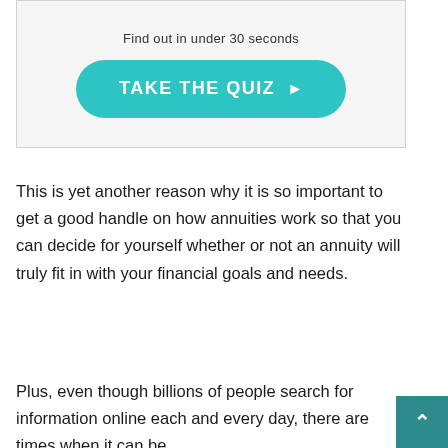[Figure (other): A teal/cyan rounded button labeled 'TAKE THE QUIZ ▶' inside a light grey bordered box with the partial text 'Find out in under 30 seconds' above it]
This is yet another reason why it is so important to get a good handle on how annuities work so that you can decide for yourself whether or not an annuity will truly fit in with your financial goals and needs.
Plus, even though billions of people search for information online each and every day, there are times when it can be